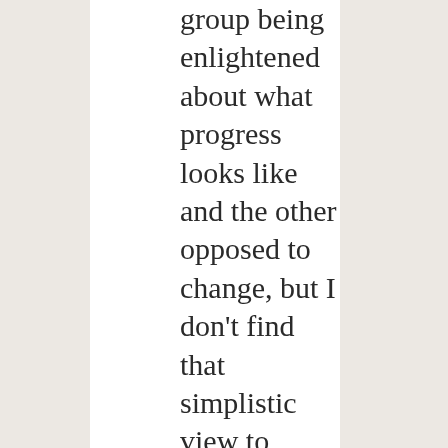group being enlightened about what progress looks like and the other opposed to change, but I don't find that simplistic view to